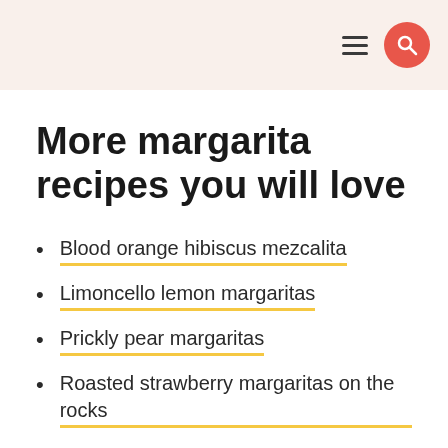More margarita recipes you will love
Blood orange hibiscus mezcalita
Limoncello lemon margaritas
Prickly pear margaritas
Roasted strawberry margaritas on the rocks